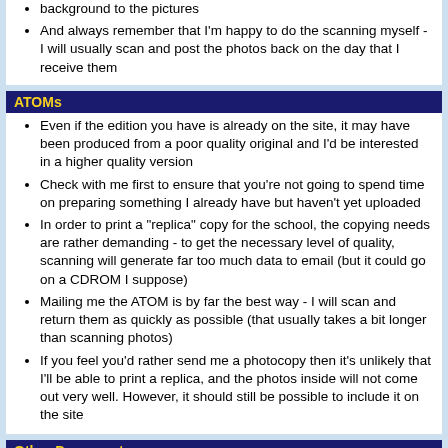background to the pictures
And always remember that I'm happy to do the scanning myself - I will usually scan and post the photos back on the day that I receive them
ATOMs
Even if the edition you have is already on the site, it may have been produced from a poor quality original and I'd be interested in a higher quality version
Check with me first to ensure that you're not going to spend time on preparing something I already have but haven't yet uploaded
In order to print a "replica" copy for the school, the copying needs are rather demanding - to get the necessary level of quality, scanning will generate far too much data to email (but it could go on a CDROM I suppose)
Mailing me the ATOM is by far the best way - I will scan and return them as quickly as possible (that usually takes a bit longer than scanning photos)
If you feel you'd rather send me a photocopy then it's unlikely that I'll be able to print a replica, and the photos inside will not come out very well. However, it should still be possible to include it on the site
Other Documents
Check with me first to ensure that you're not going to spend time on preparing something I already have but haven't yet uploaded
Good quality photocopies are usually okay
Scans are usually okay too - aim for a minimum of 75dpi, and